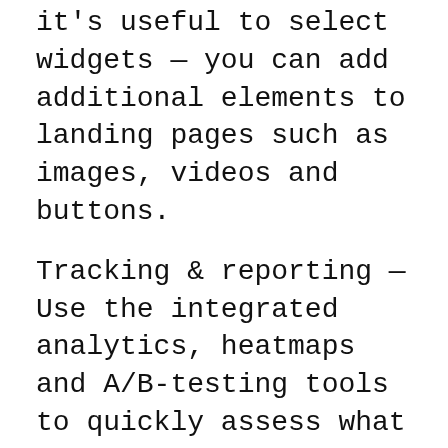it's useful to select widgets — you can add additional elements to landing pages such as images, videos and buttons.
Tracking & reporting — Use the integrated analytics, heatmaps and A/B-testing tools to quickly assess what is and isn't working on your landing pages, then optimize them for improved results.
Integration options — Instapage uses Zapier to connect to many services, including email marketing platforms, WordPress and many other.